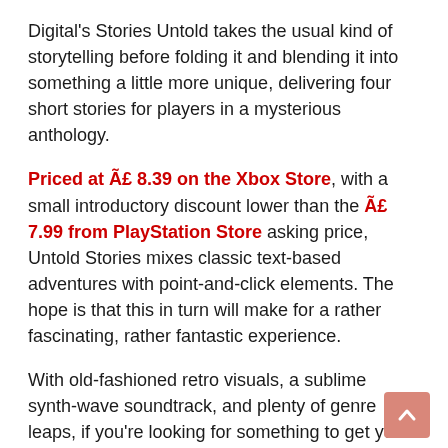Digital's Stories Untold takes the usual kind of storytelling before folding it and blending it into something a little more unique, delivering four short stories for players in a mysterious anthology.
Priced at £ 8.39 on the Xbox Store, with a small introductory discount lower than the £ 7.99 from PlayStation Store asking price, Untold Stories mixes classic text-based adventures with point-and-click elements. The hope is that this in turn will make for a rather fascinating, rather fantastic experience.
With old-fashioned retro visuals, a sublime synth-wave soundtrack, and plenty of genre leaps, if you're looking for something to get your teeth into, Stories Untold might just deliver.
– Four unique stories, with their own settings, gameplay and mechanics.
– Play mind-blowing text adventures, process radio transmissions, and conduct bizarre artifact experiments